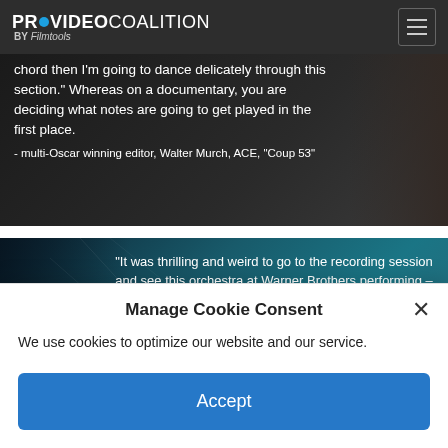PROVIDEO COALITION BY Filmtools
[Figure (photo): Dark background image with white text quote: 'chord then I'm going to dance delicately through this section.' Whereas on a documentary, you are deciding what notes are going to get played in the first place. - multi-Oscar winning editor, Walter Murch, ACE, 'Coup 53']
[Figure (photo): Teal/blue toned image with silhouette of person wearing headphones, with white text quote: 'It was thrilling and weird to go to the recording session and see this orchestra at Warner Brothers performing – note-for-note – this temp that I made, except I know that if you take the']
Manage Cookie Consent
We use cookies to optimize our website and our service.
Accept